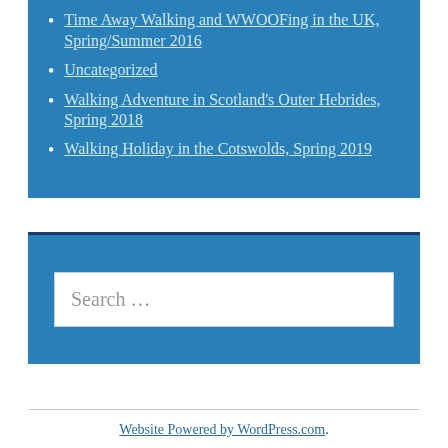Time Away Walking and WWOOFing in the UK, Spring/Summer 2016
Uncategorized
Walking Adventure in Scotland's Outer Hebrides, Spring 2018
Walking Holiday in the Cotswolds, Spring 2019
[Figure (screenshot): Search input box with placeholder text 'Search ...']
Website Powered by WordPress.com.